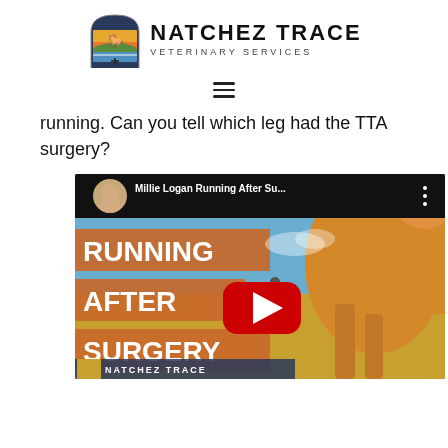[Figure (logo): Natchez Trace Veterinary Services logo with horse weathervane icon and text]
[Figure (other): Hamburger menu icon (three horizontal lines)]
running. Can you tell which leg had the TTA surgery?
[Figure (screenshot): YouTube video thumbnail showing 'Millie Logan Running After Su...' with overlay text RUNNING AFTER SURGERY, a yellow dog running in a field, and a red YouTube play button. Natchez Trace branding at bottom.]